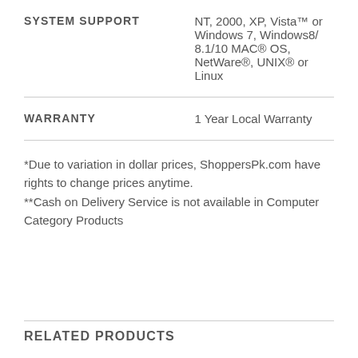|  |  |
| --- | --- |
| SYSTEM SUPPORT | NT, 2000, XP, Vista™ or Windows 7, Windows8/ 8.1/10 MAC® OS, NetWare®, UNIX® or Linux |
| WARRANTY | 1 Year Local Warranty |
*Due to variation in dollar prices, ShoppersPk.com have rights to change prices anytime.
**Cash on Delivery Service is not available in Computer Category Products
RELATED PRODUCTS